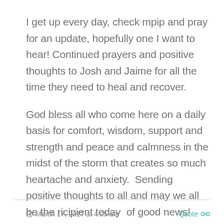I get up every day, check mpip and pray for an update, hopefully one I want to hear! Continued prayers and positive thoughts to Josh and Jaime for all the time they need to heal and recover.

God bless all who come here on a daily basis for comfort, wisdom, support and strength and peace and calmness in the midst of the storm that creates so much heartache and anxiety.  Sending positive thoughts to all and may we all be the ricipient today  of good news!

Swanee
March 17, 2017 at 4:05 am   Quote